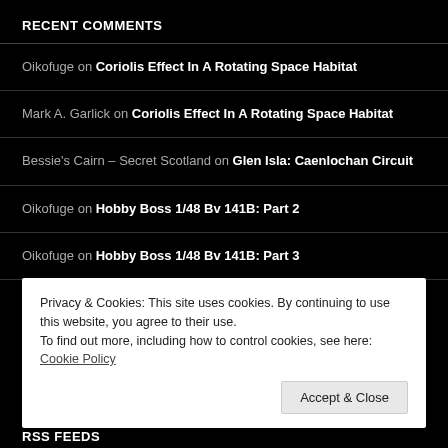RECENT COMMENTS
Oikofuge on Coriolis Effect In A Rotating Space Habitat
Mark A. Garlick on Coriolis Effect In A Rotating Space Habitat
Bessie's Cairn – Secret Scotland on Glen Isla: Caenlochan Circuit
Oikofuge on Hobby Boss 1/48 Bv 141B: Part 2
Oikofuge on Hobby Boss 1/48 Bv 141B: Part 3
Privacy & Cookies: This site uses cookies. By continuing to use this website, you agree to their use. To find out more, including how to control cookies, see here: Cookie Policy
Accept & Close
RSS FEEDS